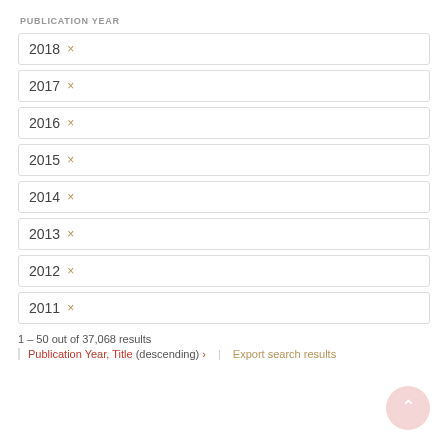PUBLICATION YEAR
2018 ×
2017 ×
2016 ×
2015 ×
2014 ×
2013 ×
2012 ×
2011 ×
1 – 50 out of 37,068 results
Publication Year, Title (descending) › | Export search results